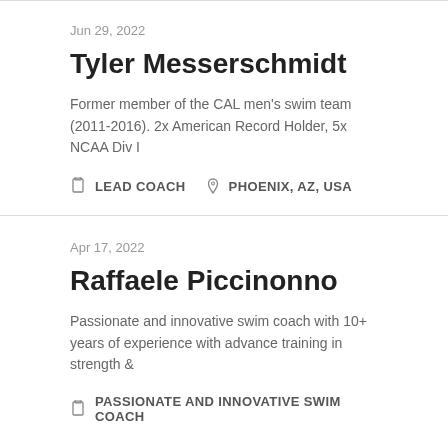Jun 29, 2022
Tyler Messerschmidt
Former member of the CAL men's swim team (2011-2016). 2x American Record Holder, 5x NCAA Div I
LEAD COACH   PHOENIX, AZ, USA
Apr 17, 2022
Raffaele Piccinonno
Passionate and innovative swim coach with 10+ years of experience with advance training in strength &
PASSIONATE AND INNOVATIVE SWIM COACH